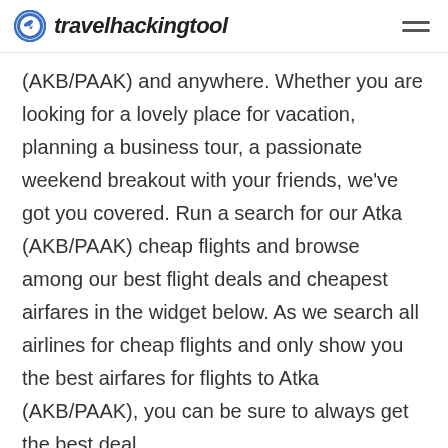travelhackingtool
(AKB/PAAK) and anywhere. Whether you are looking for a lovely place for vacation, planning a business tour, a passionate weekend breakout with your friends, we've got you covered. Run a search for our Atka (AKB/PAAK) cheap flights and browse among our best flight deals and cheapest airfares in the widget below. As we search all airlines for cheap flights and only show you the best airfares for flights to Atka (AKB/PAAK), you can be sure to always get the best deal.